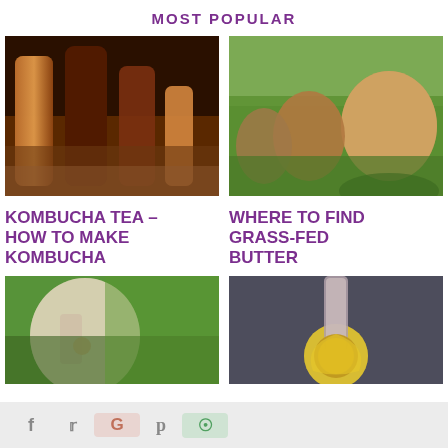MOST POPULAR
[Figure (photo): Bottles of kombucha tea on a table, amber and dark brown colored bottles]
[Figure (photo): Cows grazing in a green field, brown Jersey cows]
KOMBUCHA TEA – HOW TO MAKE KOMBUCHA
WHERE TO FIND GRASS-FED BUTTER
[Figure (photo): Hand holding something small against green foliage background]
[Figure (photo): Golden oil or honey dripping from a metal spoon, close-up]
f  🐦  G  p  ⊕